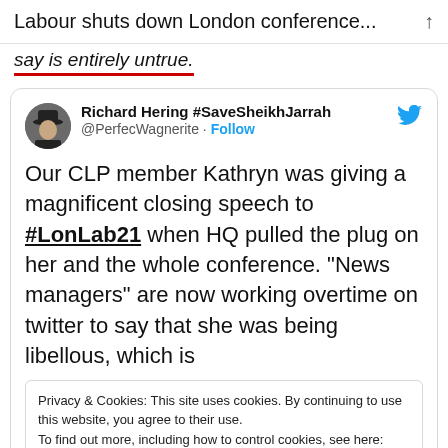Labour shuts down London conference...
say is entirely untrue.
Richard Hering #SaveSheikhJarrah @PerfecWagnerite · Follow
Our CLP member Kathryn was giving a magnificent closing speech to #LonLab21 when HQ pulled the plug on her and the whole conference. "News managers" are now working overtime on twitter to say that she was being libellous, which is
Privacy & Cookies: This site uses cookies. By continuing to use this website, you agree to their use.
To find out more, including how to control cookies, see here: Cookie Policy
Close and accept